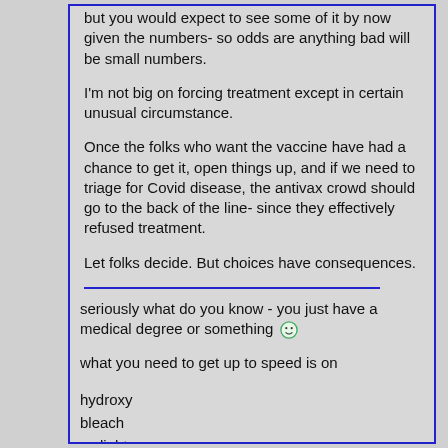but you would expect to see some of it by now given the numbers- so odds are anything bad will be small numbers.
I'm not big on forcing treatment except in certain unusual circumstance.
Once the folks who want the vaccine have had a chance to get it, open things up, and if we need to triage for Covid disease, the antivax crowd should go to the back of the line- since they effectively refused treatment.
Let folks decide. But choices have consequences.
seriously what do you know - you just have a medical degree or something 😀
what you need to get up to speed is on
hydroxy
bleach
uv light
summer heat
only then will you understand the 500k deaths are really crisis actors playing their part.